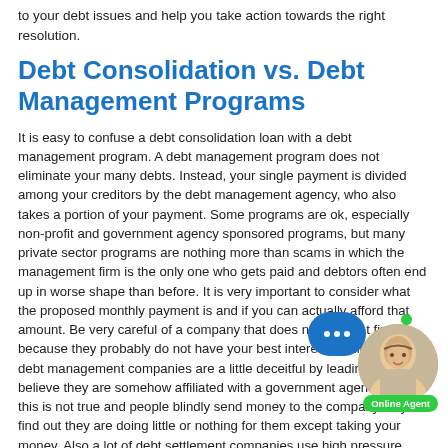to your debt issues and help you take action towards the right resolution.
Debt Consolidation vs. Debt Management Programs
It is easy to confuse a debt consolidation loan with a debt management program. A debt management program does not eliminate your many debts. Instead, your single payment is divided among your creditors by the debt management agency, who also takes a portion of your payment. Some programs are ok, especially non-profit and government agency sponsored programs, but many private sector programs are nothing more than scams in which the management firm is the only one who gets paid and debtors often end up in worse shape than before. It is very important to consider what the proposed monthly payment is and if you can actually afford that amount. Be very careful of a company that does not ask that first because they probably do not have your best interest in mind. Many debt management companies are a little deceitful by leading you to believe they are somehow affiliated with a government agency. Often this is not true and people blindly send money to the company only to find out they are doing little or nothing for them except taking your money. Also a lot of debt settlement companies use high pressure sales tactics and do not tell you about the tax consequences of settlement and you will end up owing the IRS for the forgiven debt, in bankruptcy there are no tax consequences and you truly get a fresh start. With debt management you may end up not saving any money at all between their fees, the accumulating interest and the tax consequences. If you cannot meet with a person face to face it is probably not a good idea to do business with them.